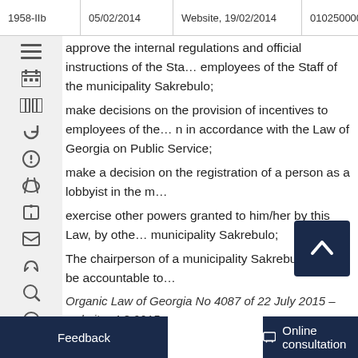1958-IIb | 05/02/2014 | Website, 19/02/2014 | 010250000.04.00
approve the internal regulations and official instructions of the Sta... employees of the Staff of the municipality Sakrebulo;
make decisions on the provision of incentives to employees of the ... n in accordance with the Law of Georgia on Public Service;
make a decision on the registration of a person as a lobbyist in the m...
exercise other powers granted to him/her by this Law, by othe... municipality Sakrebulo;
The chairperson of a municipality Sakrebulo shall be accountable to...
Organic Law of Georgia No 4087 of 22 July 2015 – website, 4.8.2015
Organic Law of Georgia No 4386 of 27 October 2015 – website, 11.11...
Organic Law of Georgia No 165 of 21 December 2016 – website, 28.1...
Article 36 – Deputies of the Chairperson of a municipality Sakrebulo
The chairperson of a municipality Sakrebulo shall have deputies (including the first deputy) on the recommendation of the chairperson...